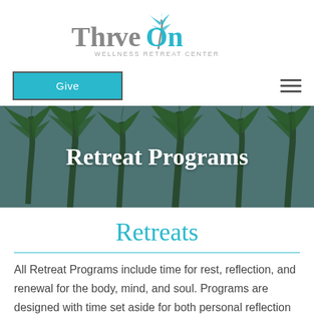[Figure (logo): ThriveOn Wellness Retreat Center logo with palm tree icon, 'Thrive' in gray and 'On' in teal, subtitle 'WELLNESS RETREAT CENTER' in small gray caps]
[Figure (other): Teal 'Give' button with dark border on the left, and a hamburger menu icon on the right]
[Figure (photo): Hero banner image of palm trees against a blue sky with white text 'Retreat Programs' overlaid]
Retreats
All Retreat Programs include time for rest, reflection, and renewal for the body, mind, and soul. Programs are designed with time set aside for both personal reflection and for sharing in